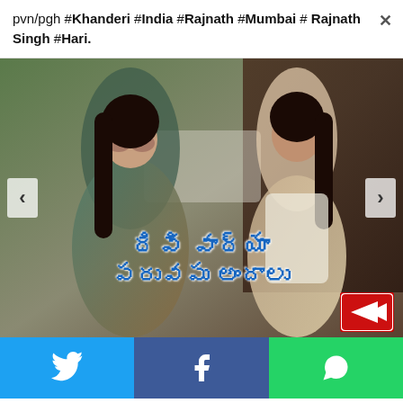pvn/pgh #Khanderi #India #Rajnath #Mumbai # Rajnath Singh #Hari.
[Figure (photo): Two young women posing in Indian fashion outfits. Left woman wears sunglasses and a teal/green embroidered outfit. Right woman wears a white crop top and skirt. Telugu text overlay reads 'దివి వాద్యా పరువపు అందాలు'. Navigation arrows on left and right. Logo badge bottom right.]
Twitter share button
Facebook share button
WhatsApp share button